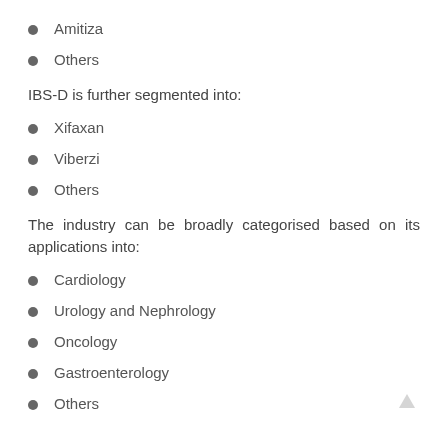Amitiza
Others
IBS-D is further segmented into:
Xifaxan
Viberzi
Others
The industry can be broadly categorised based on its applications into:
Cardiology
Urology and Nephrology
Oncology
Gastroenterology
Others